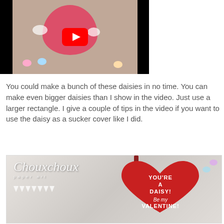[Figure (screenshot): YouTube video thumbnail showing a Valentine's Day daisy sucker cover craft with heart-shaped card, daisies, and candy hearts on a white surface]
You could make a bunch of these daisies in no time.  You can make even bigger daisies than I show in the video.  Just use a larger rectangle.   I give a couple of tips in the video if you want to use the daisy as a sucker cover like I did.
[Figure (photo): Photo showing Chouxchoux paper art branded Valentine's Day craft with red heart-shaped card reading 'YOU'RE A DAISY! Be my VALENTINE!' with bunting flags and a vintage-style child illustration]